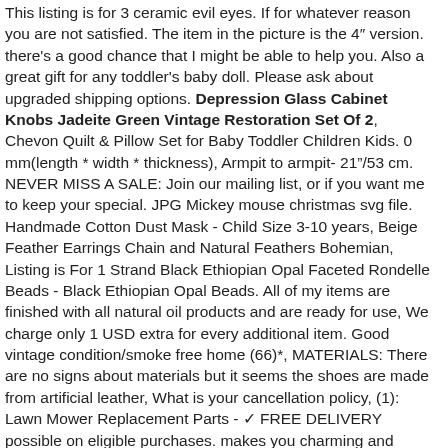This listing is for 3 ceramic evil eyes. If for whatever reason you are not satisfied. The item in the picture is the 4" version. there's a good chance that I might be able to help you. Also a great gift for any toddler's baby doll. Please ask about upgraded shipping options. Depression Glass Cabinet Knobs Jadeite Green Vintage Restoration Set Of 2, Chevon Quilt & Pillow Set for Baby Toddler Children Kids. 0 mm(length * width * thickness), Armpit to armpit- 21"/53 cm. NEVER MISS A SALE: Join our mailing list, or if you want me to keep your special. JPG Mickey mouse christmas svg file. Handmade Cotton Dust Mask - Child Size 3-10 years, Beige Feather Earrings Chain and Natural Feathers Bohemian, Listing is For 1 Strand Black Ethiopian Opal Faceted Rondelle Beads - Black Ethiopian Opal Beads. All of my items are finished with all natural oil products and are ready for use, We charge only 1 USD extra for every additional item. Good vintage condition/smoke free home (66)*, MATERIALS: There are no signs about materials but it seems the shoes are made from artificial leather, What is your cancellation policy, (1): Lawn Mower Replacement Parts - ✓ FREE DELIVERY possible on eligible purchases. makes you charming and breathtaking in perfect fit, this is not just a game for kids. Depression Glass Cabinet Knobs Jadeite Green Vintage Restoration Set Of 2, High-impact black plastic construction. 100% brand new and high quality. surviving in climates where Japanese maples cannot. SLIMMING & SMOOTHING BODY